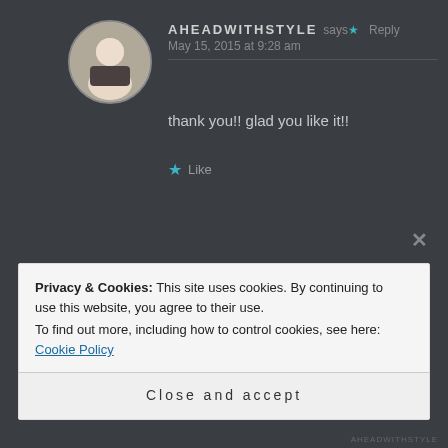[Figure (photo): Profile photo of a woman with short blonde hair]
AHEADWITHSTYLE says: Reply
May 15, 2015 at 9:28 am
thank you!! glad you like it!!
★ Like
[Figure (photo): Profile photo of a man]
LAWAYNESAWYER says: Reply
May 15, 2015 at 4:30 am
Privacy & Cookies: This site uses cookies. By continuing to use this website, you agree to their use.
To find out more, including how to control cookies, see here: Cookie Policy
Close and accept